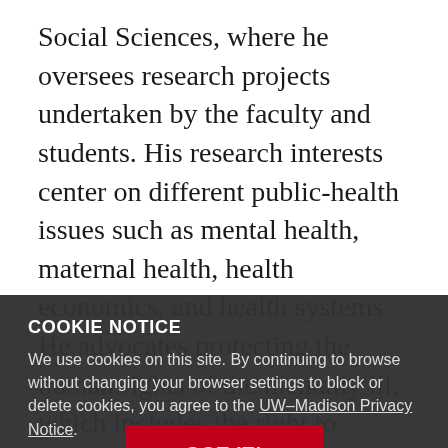Social Sciences, where he oversees research projects undertaken by the faculty and students. His research interests center on different public-health issues such as mental health, maternal health, health economics, and health systems. He advocates protecting the human rights of the mentally ill, which includes the right to appropriate mental health care, and the right to education and employment. Gebeyehu has a master's degree in Social Psychology from Addis Ababa University and in
COOKIE NOTICE
We use cookies on this site. By continuing to browse without changing your browser settings to block or delete cookies, you agree to the UW–Madison Privacy Notice.